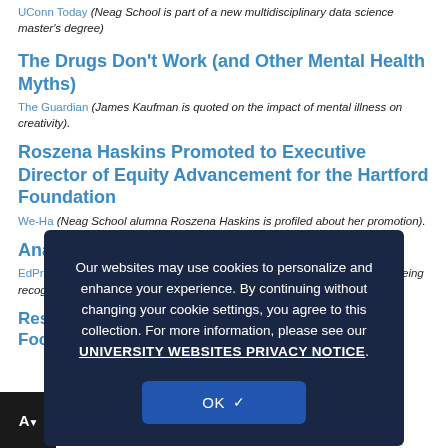UConn Today (Neag School is part of a new multidisciplinary data science master's degree)
The Drugs Don't Work (and Other Mental Health Myths)
The Guardian (James Kaufman is quoted on the impact of mental illness on creativity).
Roszena Haskins Promoted to Executive Director of Equity Advancement for the Hartford Foundation
We-Ha (Neag School alumna Roszena Haskins is profiled about her promotion).
Anamaria Arteaga Named the Month
EdPrep Matters (Doctoral student Anamaria Arteaga is featured about her being recognized).
Research Highlights Positive Impacts of Math-Focused Summer Learning
Our websites may use cookies to personalize and enhance your experience. By continuing without changing your cookie settings, you agree to this collection. For more information, please see our UNIVERSITY WEBSITES PRIVACY NOTICE.
OK ✓